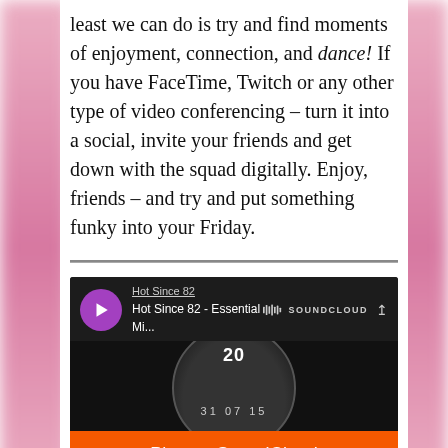least we can do is try and find moments of enjoyment, connection, and dance! If you have FaceTime, Twitch or any other type of video conferencing – turn it into a social, invite your friends and get down with the squad digitally. Enjoy, friends – and try and put something funky into your Friday.
[Figure (screenshot): SoundCloud embedded player widget showing 'Hot Since 82 - Essential Mi...' track with purple play button, SoundCloud logo, album art with '20' text and date '31 07 15', and an orange 'Play on SoundCloud' button.]